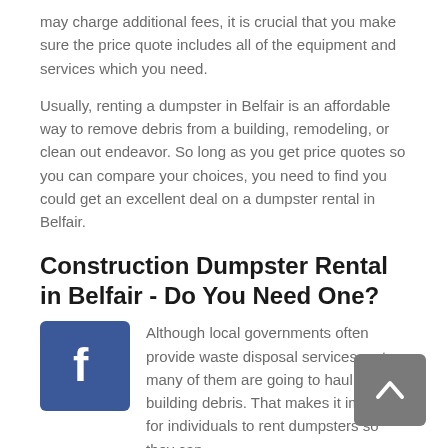may charge additional fees, it is crucial that you make sure the price quote includes all of the equipment and services which you need.
Usually, renting a dumpster in Belfair is an affordable way to remove debris from a building, remodeling, or clean out endeavor. So long as you get price quotes so you can compare your choices, you need to find you could get an excellent deal on a dumpster rental in Belfair.
Construction Dumpster Rental in Belfair - Do You Need One?
[Figure (logo): Facebook logo icon - blue square with white letter f]
Although local governments often provide waste disposal services, not many of them are going to haul away building debris. That makes it important for individuals to rent dumpsters so they can dispose of waste during construction projects.